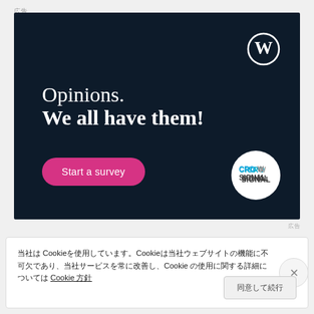広告
[Figure (screenshot): WordPress/Crowdsignal advertisement with dark navy background showing 'Opinions. We all have them!' text, a 'Start a survey' pink button, WordPress logo, and Crowdsignal logo]
広告
当社は Cookieを使用しています。Cookieは当社ウェブサイトの機能に不可欠であり、当社サービスを常に改善し、Cookie の使用に関する詳細については Cookie 方針